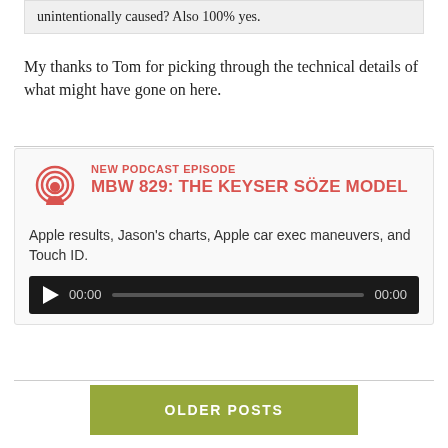unintentionally caused? Also 100% yes.
My thanks to Tom for picking through the technical details of what might have gone on here.
[Figure (infographic): Podcast episode card for MBW 829: The Keyser Söze Model with podcast icon, episode title in red, description text, and audio player bar.]
Apple results, Jason's charts, Apple car exec maneuvers, and Touch ID.
OLDER POSTS